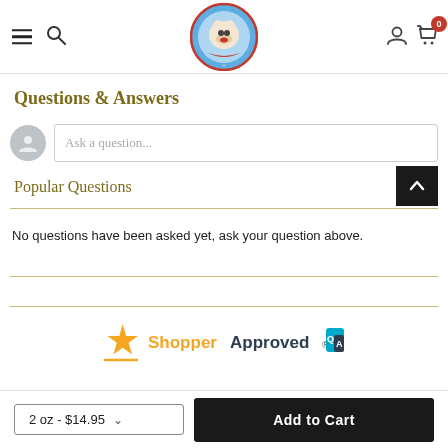The Pet Health & Nutrition Center — navigation header with logo, search, user, and cart icons
Questions & Answers
Ask a question...
Popular Questions
No questions have been asked yet, ask your question above.
[Figure (logo): Shopper Approved logo with star icon and Q&A badge]
2 oz - $14.95
Add to Cart